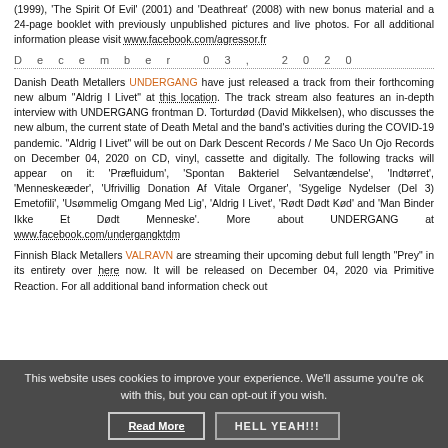(1999), 'The Spirit Of Evil' (2001) and 'Deathreat' (2008) with new bonus material and a 24-page booklet with previously unpublished pictures and live photos. For all additional information please visit www.facebook.com/agressor.fr
December 03, 2020
Danish Death Metallers UNDERGANG have just released a track from their forthcoming new album "Aldrig I Livet" at this location. The track stream also features an in-depth interview with UNDERGANG frontman D. Torturdød (David Mikkelsen), who discusses the new album, the current state of Death Metal and the band's activities during the COVID-19 pandemic. "Aldrig I Livet" will be out on Dark Descent Records / Me Saco Un Ojo Records on December 04, 2020 on CD, vinyl, cassette and digitally. The following tracks will appear on it: 'Præfluidum', 'Spontan Bakteriel Selvantændelse', 'Indtørret', 'Menneskeæder', 'Ufrivillig Donation Af Vitale Organer', 'Sygelige Nydelser (Del 3) Emetofili', 'Usømmelig Omgang Med Lig', 'Aldrig I Livet', 'Rødt Dødt Kød' and 'Man Binder Ikke Et Dødt Menneske'. More about UNDERGANG at www.facebook.com/undergangktdm
Finnish Black Metallers VALRAVN are streaming their upcoming debut full length "Prey" in its entirety over here now. It will be released on December 04, 2020 via Primitive Reaction. For all additional band information check out
This website uses cookies to improve your experience. We'll assume you're ok with this, but you can opt-out if you wish.
Read More | HELL YEAH!!!